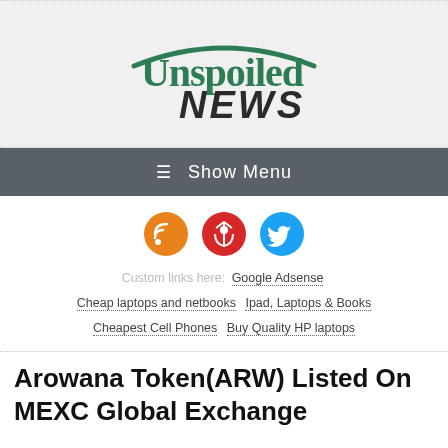Unspoiled NEWS
≡ Show Menu
[Figure (infographic): Three social media icon buttons: orange RSS feed icon, red Pinterest icon, light blue Twitter bird icon]
Custom links here: Google Adsense  Cheap laptops and netbooks  Ipad, Laptops & Books  Cheapest Cell Phones  Buy Quality HP laptops
Arowana Token(ARW) Listed On MEXC Global Exchange